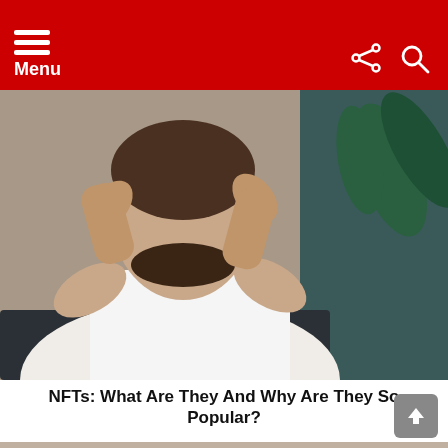Menu
[Figure (photo): A man in a white t-shirt with hands behind his head, sitting at a desk, looking stressed or thinking. A plant is visible in the background.]
NFTs: What Are They And Why Are They So Popular?
[Figure (photo): A young blonde woman with short hair wearing a white lace outfit, with a YouTube play button overlay in the center of the image.]